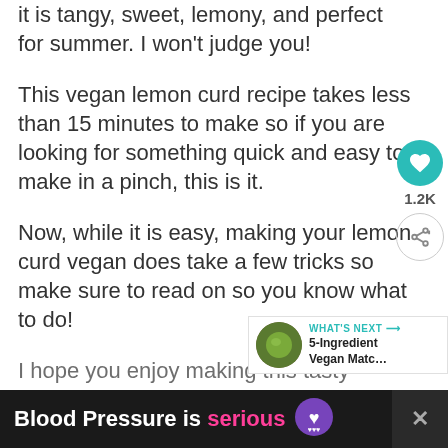it is tangy, sweet, lemony, and perfect for summer. I won't judge you!
This vegan lemon curd recipe takes less than 15 minutes to make so if you are looking for something quick and easy to make in a pinch, this is it.
Now, while it is easy, making your lemon curd vegan does take a few tricks so make sure to read on so you know what to do!
I hope you enjoy making this tasty
[Figure (infographic): Floating sidebar with teal heart/like button showing 1.2K count, and a share icon button below]
[Figure (infographic): What's Next promotional box with green matcha ball image and text '5-Ingredient Vegan Matc...']
[Figure (infographic): Ad banner: black background with text 'Blood Pressure is serious' with pink 'serious' and purple heart icon, close X button on right]